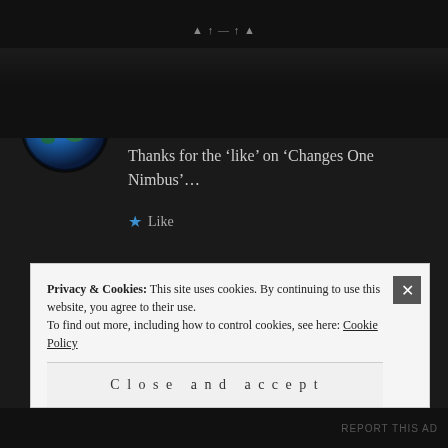JC says:
January 28, 2015 at 4:31 pm
Thanks for the ‘like’ on ‘Changes One Nimbus’…
Like
Privacy & Cookies: This site uses cookies. By continuing to use this website, you agree to their use.
To find out more, including how to control cookies, see here: Cookie Policy
Close and accept
REPORT THIS AD